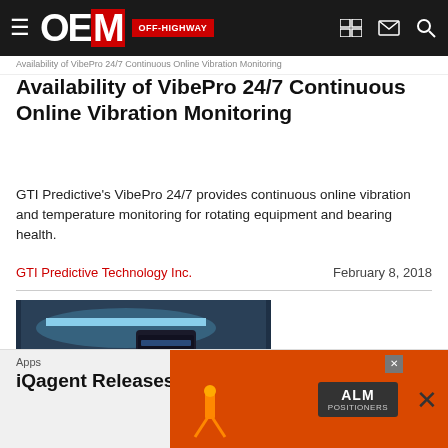OEM OFF-HIGHWAY
Availability of VibePro 24/7 Continuous Online Vibration Monitoring
GTI Predictive's VibePro 24/7 provides continuous online vibration and temperature monitoring for rotating equipment and bearing health.
GTI Predictive Technology Inc.    February 8, 2018
[Figure (photo): Product image showing VibePro 24/7 device alongside industrial monitoring panel with blue illumination and control buttons]
Apps
iQagent Releases iQagent AR Augmented